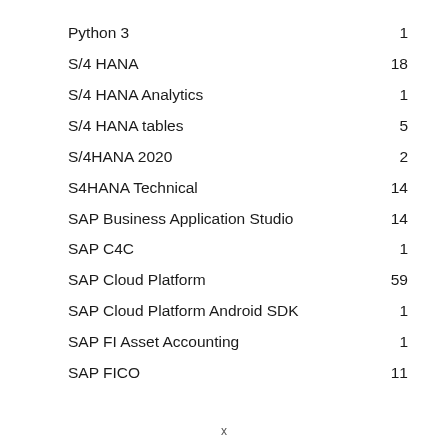Python 3    1
S/4 HANA    18
S/4 HANA Analytics    1
S/4 HANA tables    5
S/4HANA 2020    2
S4HANA Technical    14
SAP Business Application Studio    14
SAP C4C    1
SAP Cloud Platform    59
SAP Cloud Platform Android SDK    1
SAP FI Asset Accounting    1
SAP FICO    11
x